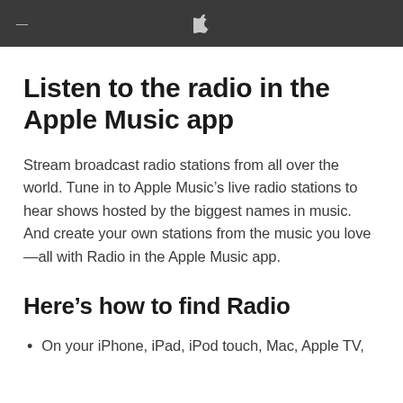Apple navigation bar with menu icon and Apple logo
Listen to the radio in the Apple Music app
Stream broadcast radio stations from all over the world. Tune in to Apple Music’s live radio stations to hear shows hosted by the biggest names in music. And create your own stations from the music you love—all with Radio in the Apple Music app.
Here’s how to find Radio
On your iPhone, iPad, iPod touch, Mac, Apple TV,